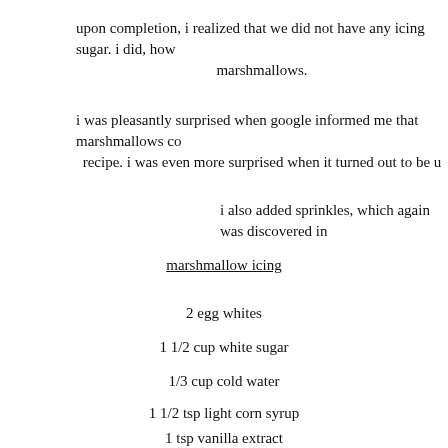upon completion, i realized that we did not have any icing sugar. i did, how marshmallows.
i was pleasantly surprised when google informed me that marshmallows co recipe. i was even more surprised when it turned out to be u
i also added sprinkles, which again was discovered in
marshmallow icing
2 egg whites
1 1/2 cup white sugar
1/3 cup cold water
1 1/2 tsp light corn syrup
1 tsp vanilla extract